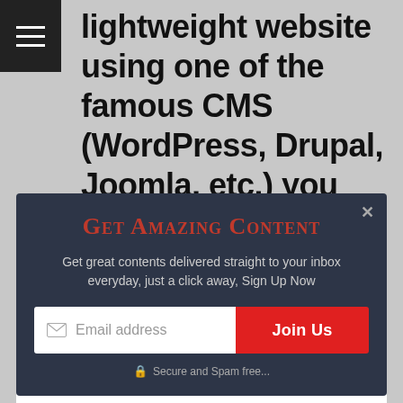lightweight website using one of the famous CMS (WordPress, Drupal, Joomla, etc.) you can go for PHP
[Figure (screenshot): Email newsletter subscription modal popup with dark background (#2d3547), title 'Get Amazing Content' in red serif font, subtitle text about getting great content delivered to inbox, email input field with envelope icon, red 'Join Us' button, and 'Secure and Spam free...' security note with padlock icon. Has an X close button in top right corner.]
This website uses cookies to improve your experience. We'll assume you're ok with this, but you can opt-out if you wish.
[Figure (other): Goodyear Tire Promotion advertisement banner showing Goodyear logo, text 'Goodyear Tire Promotion' and 'Virginia Tire & Auto of Ashburn', play/close buttons on left, blue diamond shaped arrow icon on right.]